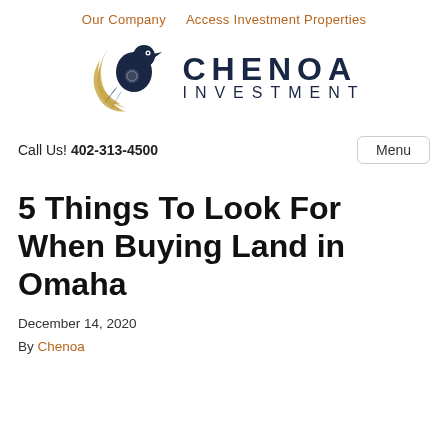Our Company   Access Investment Properties
[Figure (logo): Chenoa Investment logo with a bird and crescent moon in navy and gold, with text CHENOA INVESTMENT]
Call Us! 402-313-4500
5 Things To Look For When Buying Land in Omaha
December 14, 2020
By Chenoa